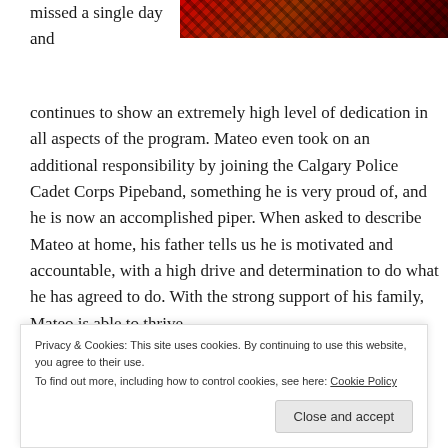[Figure (photo): Partial photo showing a person wearing red tartan/plaid clothing, cropped at top of page]
missed a single day and
continues to show an extremely high level of dedication in all aspects of the program. Mateo even took on an additional responsibility by joining the Calgary Police Cadet Corps Pipeband, something he is very proud of, and he is now an accomplished piper. When asked to describe Mateo at home, his father tells us he is motivated and accountable, with a high drive and determination to do what he has agreed to do. With the strong support of his family, Mateo is able to thrive.
Privacy & Cookies: This site uses cookies. By continuing to use this website, you agree to their use.
To find out more, including how to control cookies, see here: Cookie Policy